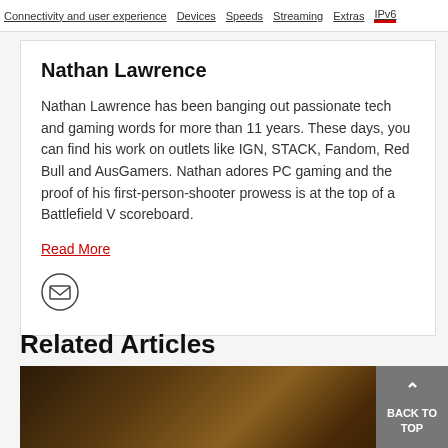Connectivity and user experience | Devices | Speeds | Streaming | Extras | IPv6
Nathan Lawrence
Nathan Lawrence has been banging out passionate tech and gaming words for more than 11 years. These days, you can find his work on outlets like IGN, STACK, Fandom, Red Bull and AusGamers. Nathan adores PC gaming and the proof of his first-person-shooter prowess is at the top of a Battlefield V scoreboard.
Read More
Related Articles
[Figure (photo): Dark-toned article thumbnail image with gold and brown tones, partially visible at bottom of page]